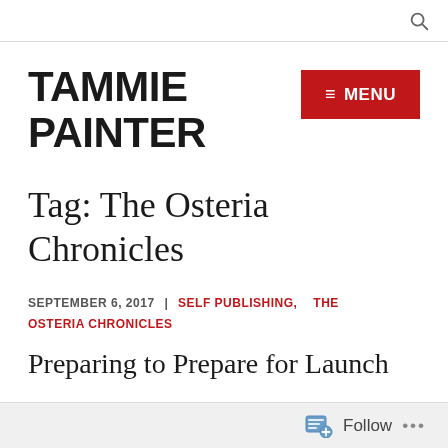🔍 (search icon)
TAMMIE PAINTER
≡ MENU
Tag: The Osteria Chronicles
SEPTEMBER 6, 2017  |  SELF PUBLISHING,  THE OSTERIA CHRONICLES
Preparing to Prepare for Launch
Follow  ...